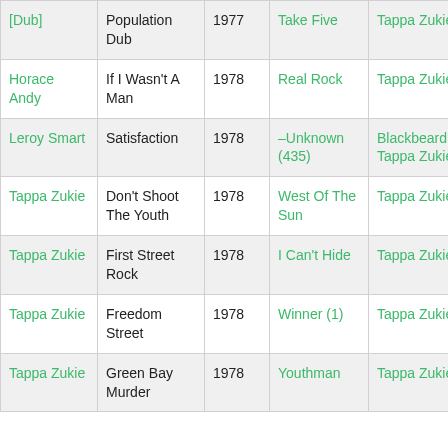| Artist | Title | Year | B-side | Label | Album |
| --- | --- | --- | --- | --- | --- |
| [Dub] | Population Dub | 1977 | Take Five | Tappa Zukie | Stars |
| Horace Andy | If I Wasn't A Man | 1978 | Real Rock | Tappa Zukie |  |
| Leroy Smart | Satisfaction | 1978 | –Unknown (435) | Blackbeard & Tappa Zukie | New Star |
| Tappa Zukie | Don't Shoot The Youth | 1978 | West Of The Sun | Tappa Zukie |  |
| Tappa Zukie | First Street Rock | 1978 | I Can't Hide | Tappa Zukie | Front Line |
| Tappa Zukie | Freedom Street | 1978 | Winner (1) | Tappa Zukie |  |
| Tappa Zukie | Green Bay Murder | 1978 | Youthman | Tappa Zukie | Front Line |